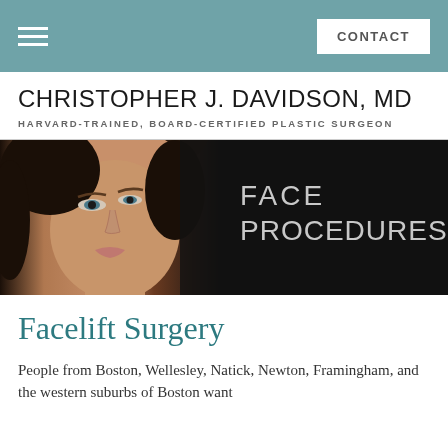CONTACT
CHRISTOPHER J. DAVIDSON, MD
HARVARD-TRAINED, BOARD-CERTIFIED PLASTIC SURGEON
[Figure (photo): Banner image showing a woman's face on the left half against a dark background, with text 'FACE PROCEDURES' on the right half in light gray letters on dark background]
Facelift Surgery
People from Boston, Wellesley, Natick, Newton, Framingham, and the western suburbs of Boston want